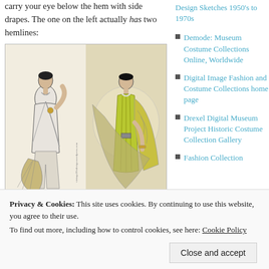carry your eye below the hem with side drapes. The one on the left actually has two hemlines:
[Figure (illustration): Two Art Deco fashion design sketches showing women in 1920s style dresses. Left figure in white/grey draped dress with fan. Right figure in yellow-green dress with large decorative fan and patterned wrap.]
Design Sketches 1950's to 1970s
Demode: Museum Costume Collections Online, Worldwide
Digital Image Fashion and Costume Collections home page
Drexel Digital Museum Project Historic Costume Collection Gallery
Fashion Collection
Privacy & Cookies: This site uses cookies. By continuing to use this website, you agree to their use.
To find out more, including how to control cookies, see here: Cookie Policy
Close and accept